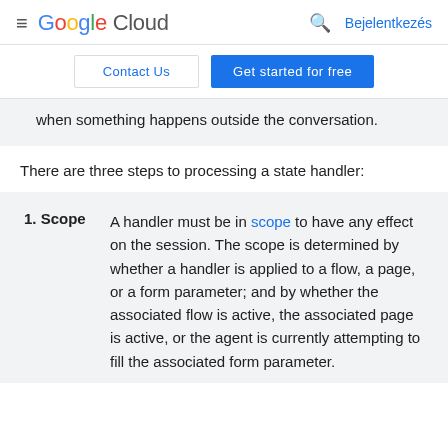≡ Google Cloud  🔍 Bejelentkezés
Contact Us | Get started for free
when something happens outside the conversation.
There are three steps to processing a state handler:
1. Scope  A handler must be in scope to have any effect on the session. The scope is determined by whether a handler is applied to a flow, a page, or a form parameter; and by whether the associated flow is active, the associated page is active, or the agent is currently attempting to fill the associated form parameter.